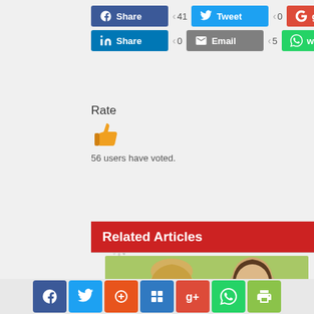[Figure (screenshot): Social media share buttons row: Facebook Share (41), Tweet (0), googleplus (0), LinkedIn Share (0), Email (5), whatsapp (2)]
Rate
[Figure (illustration): Orange thumbs up icon]
56 users have voted.
[Figure (other): Loading spinner graphic]
Related Articles
[Figure (illustration): Painting of a young child and a woman (mother and child) on green background]
[Figure (screenshot): Bottom share bar with icons: Facebook, Twitter, StumbleUpon, Delicious, Google+, WhatsApp, Print]